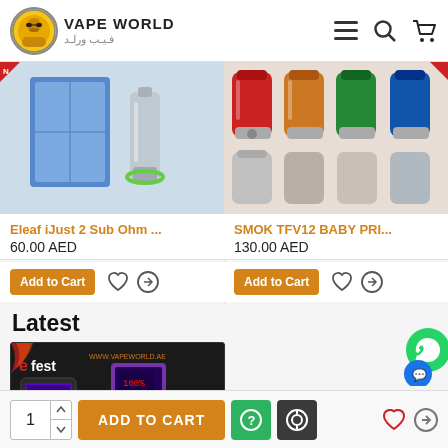VAPE WORLD / فيب ورلد
[Figure (photo): Product image: Eleaf iJust 2 Sub Ohm kit with blue box packaging and atomizer]
Eleaf iJust 2 Sub Ohm ...
60.00 AED
Add to Cart
[Figure (photo): Product image: SMOK TFV12 BABY PRINCE tanks in multiple colors (red, green, blue, silver)]
SMOK TFV12 BABY PRI...
130.00 AED
Add to Cart
Latest
[Figure (photo): Efest branded product image showing a smartphone app and battery charger device on dark background, with URL www.vapeworld.ae]
1  ADD TO CART